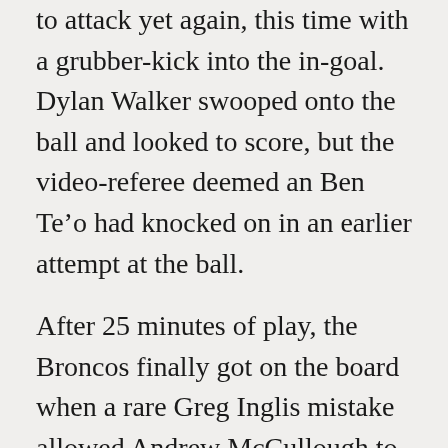to attack yet again, this time with a grubber-kick into the in-goal. Dylan Walker swooped onto the ball and looked to score, but the video-referee deemed an Ben Te’o had knocked on in an earlier attempt at the ball.
After 25 minutes of play, the Broncos finally got on the board when a rare Greg Inglis mistake allowed Andrew McCullough to plant the ball down out wide. Corey Parker failed to convert making the score 14-4 in Souths’ favour.
Lachlan Maranta added to the Broncos’ score-card with a try on the side-line, and with Corey Parker’s conversion, the Rabbitohs found